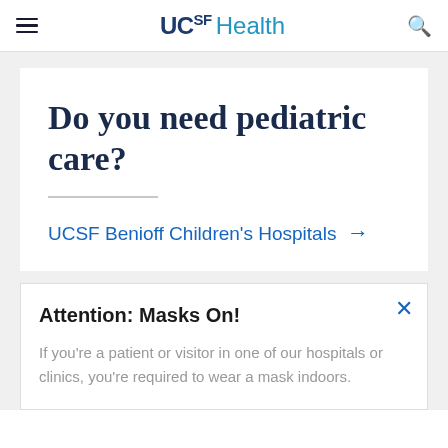UCSF Health
Do you need pediatric care?
UCSF Benioff Children's Hospitals →
Attention: Masks On!
If you're a patient or visitor in one of our hospitals or clinics, you're required to wear a mask indoors.